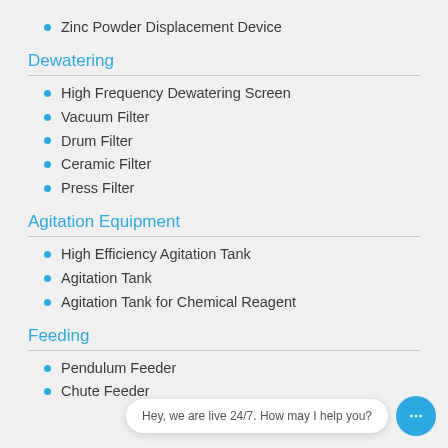Zinc Powder Displacement Device
Dewatering
High Frequency Dewatering Screen
Vacuum Filter
Drum Filter
Ceramic Filter
Press Filter
Agitation Equipment
High Efficiency Agitation Tank
Agitation Tank
Agitation Tank for Chemical Reagent
Feeding
Pendulum Feeder
Chute Feeder